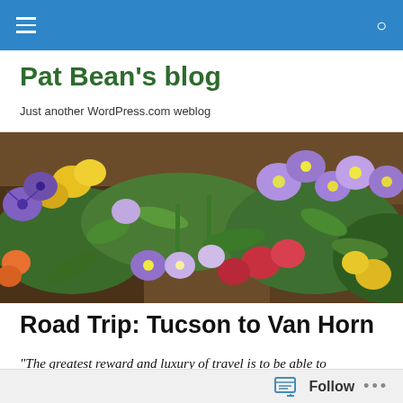Navigation bar with hamburger menu and search icon
Pat Bean's blog
Just another WordPress.com weblog
[Figure (photo): Wide banner photo of colorful pansy and wildflower garden with purple, yellow, red, and orange flowers against green foliage and dark soil]
Road Trip: Tucson to Van Horn
“The greatest reward and luxury of travel is to be able to
Follow ...